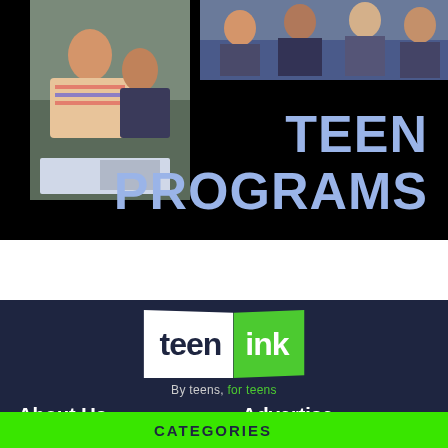[Figure (photo): Banner image with black background showing two photos: left photo of a smiling Asian teenage girl working at a desk with a tutor/instructor leaning over, right photo of teenagers sitting on a couch. Large text reads 'TEEN PROGRAMS' in light blue/periwinkle bold uppercase letters.]
[Figure (logo): Teen Ink logo: white parallelogram with 'teen' in dark navy bold text, green parallelogram with 'ink' in white bold text. Below: 'By teens, for teens' tagline with 'for teens' in green.]
About Us
Advertise
About Us
Contact Us
Advertise in Teen Ink magazine
Advertising Information
CATEGORIES